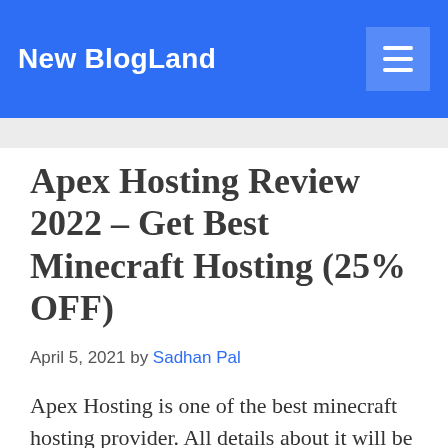New Blogland
Apex Hosting Review 2022 – Get Best Minecraft Hosting (25% OFF)
April 5, 2021 by Sadhan Pal
Apex Hosting is one of the best minecraft hosting provider. All details about it will be discussed here in this Apex Hosting review